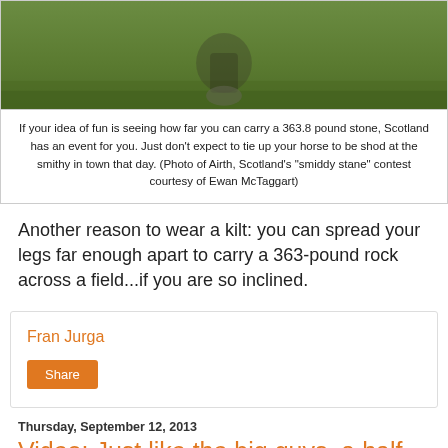[Figure (photo): Photo of a person carrying a large stone at Airth, Scotland's smiddy stane contest, on grass field]
If your idea of fun is seeing how far you can carry a 363.8 pound stone, Scotland has an event for you. Just don't expect to tie up your horse to be shod at the smithy in town that day. (Photo of Airth, Scotland's "smiddy stane" contest courtesy of Ewan McTaggart)
Another reason to wear a kilt: you can spread your legs far enough apart to carry a 363-pound rock across a field...if you are so inclined.
Fran Jurga
Share
Thursday, September 12, 2013
Video: Just like the big guys, a half-pint horse works out in an underwater treadmill